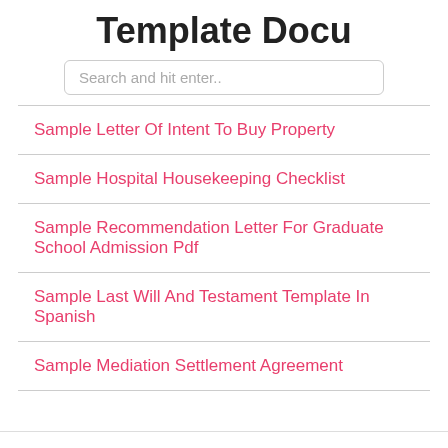Template Docu
Search and hit enter..
Sample Letter Of Intent To Buy Property
Sample Hospital Housekeeping Checklist
Sample Recommendation Letter For Graduate School Admission Pdf
Sample Last Will And Testament Template In Spanish
Sample Mediation Settlement Agreement
Dmca   Contact   Privacy Policy   Copyright